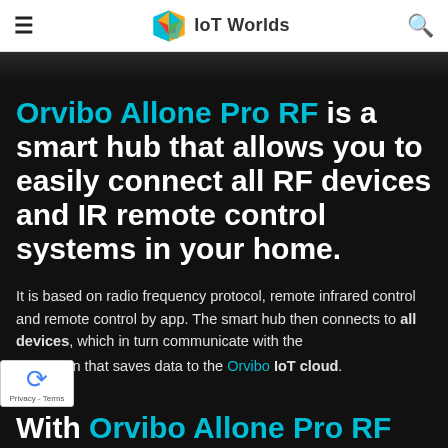IoT Worlds
[Figure (screenshot): Dark background image strip at top of content area]
Orvibo Allone Pro RF is a smart hub that allows you to easily connect all RF devices and IR remote control systems in your home.
It is based on radio frequency protocol, remote infrared control and remote control by app. The smart hub then connects to all devices, which in turn communicate with the [application] that saves data to the Orvibo IoT cloud.
With Orvibo Allone Pro RF smart hub,